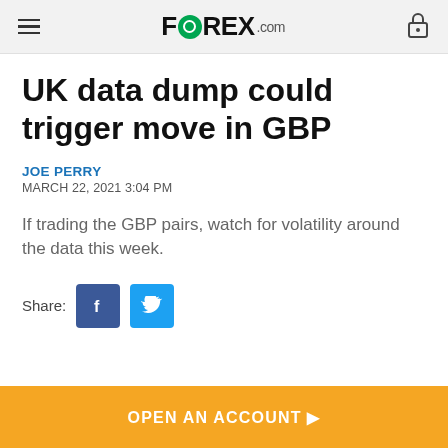FOREX.com
UK data dump could trigger move in GBP
JOE PERRY
MARCH 22, 2021 3:04 PM
If trading the GBP pairs, watch for volatility around the data this week.
Share:
OPEN AN ACCOUNT ▶